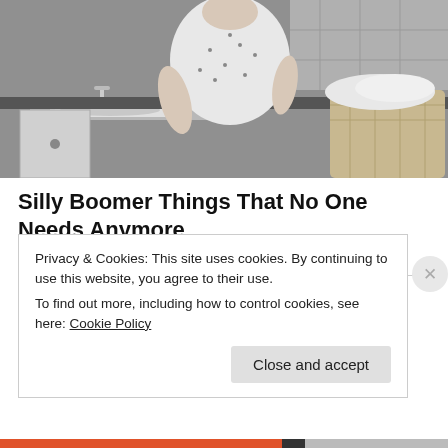[Figure (photo): Black and white vintage photo of a woman in a floral dress and apron standing at a kitchen counter with a laundry basket]
Silly Boomer Things That No One Needs Anymore
Bon Voyaged
Share this:
Privacy & Cookies: This site uses cookies. By continuing to use this website, you agree to their use.
To find out more, including how to control cookies, see here: Cookie Policy
Close and accept